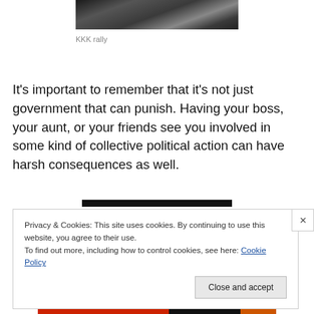[Figure (photo): Partial black and white photograph of a KKK rally, cropped at top]
KKK rally
It's important to remember that it's not just government that can punish. Having your boss, your aunt, or your friends see you involved in some kind of collective political action can have harsh consequences as well.
[Figure (other): Black horizontal bar element]
Privacy & Cookies: This site uses cookies. By continuing to use this website, you agree to their use.
To find out more, including how to control cookies, see here: Cookie Policy
Close and accept